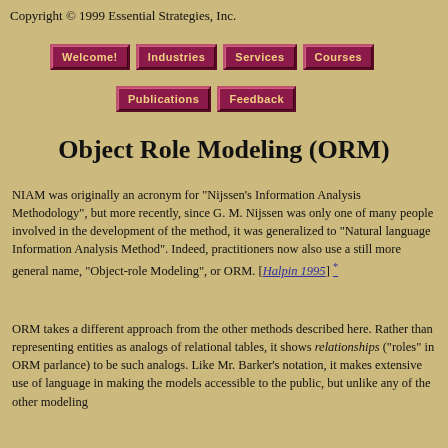Copyright © 1999 Essential Strategies, Inc.
[Figure (other): Navigation bar with buttons: Welcome!, Industries, Services, Courses, Publications, Feedback]
Object Role Modeling (ORM)
NIAM was originally an acronym for "Nijssen's Information Analysis Methodology", but more recently, since G. M. Nijssen was only one of many people involved in the development of the method, it was generalized to "Natural language Information Analysis Method". Indeed, practitioners now also use a still more general name, "Object-role Modeling", or ORM. [Halpin 1995] *
ORM takes a different approach from the other methods described here. Rather than representing entities as analogs of relational tables, it shows relationships ("roles" in ORM parlance) to be such analogs. Like Mr. Barker's notation, it makes extensive use of language in making the models accessible to the public, but unlike any of the other modeling